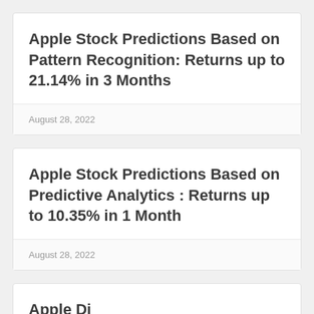Apple Stock Predictions Based on Pattern Recognition: Returns up to 21.14% in 3 Months
August 28, 2022
Apple Stock Predictions Based on Predictive Analytics : Returns up to 10.35% in 1 Month
August 28, 2022
Apple Discount Predictions Based on...